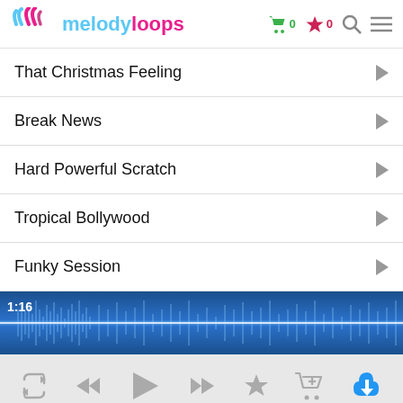melodyloops
That Christmas Feeling
Break News
Hard Powerful Scratch
Tropical Bollywood
Funky Session
[Figure (other): Audio waveform player showing 1:16 timestamp with blue waveform visualization]
[Figure (other): Media player controls: repeat, rewind, play, fast-forward, star/favorite, add to cart, download]